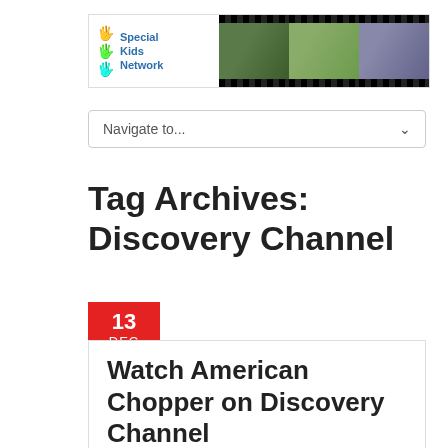[Figure (logo): Special Kids Network logo with colorful hand icons and filmstrip banner with children photos]
Navigate to...
Tag Archives: Discovery Channel
13 DEC
Watch American Chopper on Discovery Channel